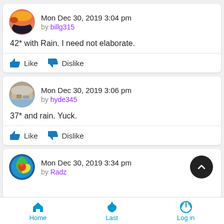Mon Dec 30, 2019 3:04 pm by billg315
42* with Rain. I need not elaborate.
Mon Dec 30, 2019 3:06 pm by hyde345
37* and rain. Yuck.
Mon Dec 30, 2019 3:34 pm by Radz
Home  Last  Log in